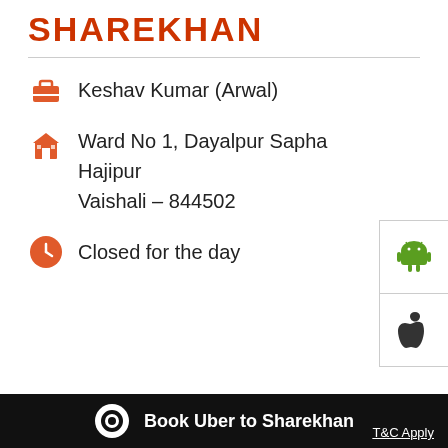SHAREKHAN
Keshav Kumar (Arwal)
Ward No 1, Dayalpur Sapha
Hajipur
Vaishali – 844502
Closed for the day
CALL
DIRECTIONS
LOOKING FOR A BETTER DEMAT
Cookie Information
On our website, we use services (including from third-party providers) that help us to improve our online presence (optimization of website) and to display content that is geared to their interests. We need your consent before being able to use these services.
Book Uber to Sharekhan
T&C Apply